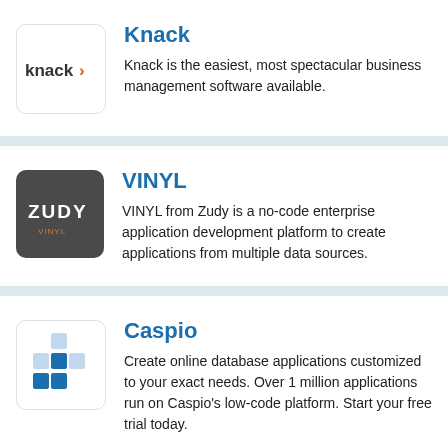[Figure (logo): Knack logo - white background with 'knack>' text in dark grey]
Knack
Knack is the easiest, most spectacular business management software available.
[Figure (logo): VINYL/Zudy logo - dark grey square background with 'ZUDY' text in white and orange accent]
VINYL
VINYL from Zudy is a no-code enterprise application development platform to create applications from multiple data sources.
[Figure (logo): Caspio logo - blue diamond/square pattern tiles]
Caspio
Create online database applications customized to your exact needs. Over 1 million applications run on Caspio's low-code platform. Start your free trial today.